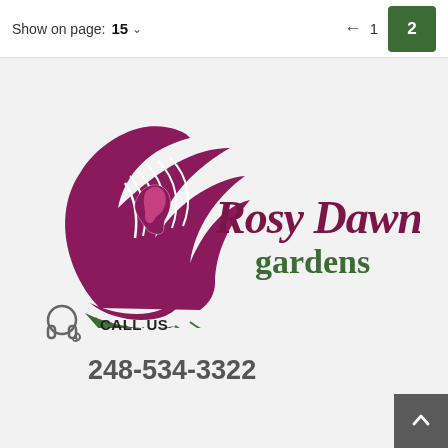Show on page: 15 ∨  ← 1  2
[Figure (logo): Rosy Dawn Gardens logo featuring a purple leaf/feather with a woman's profile silhouette and green fern fronds, with the text 'Rosy Dawn gardens' in dark purple and green]
CALL US
248-534-3322